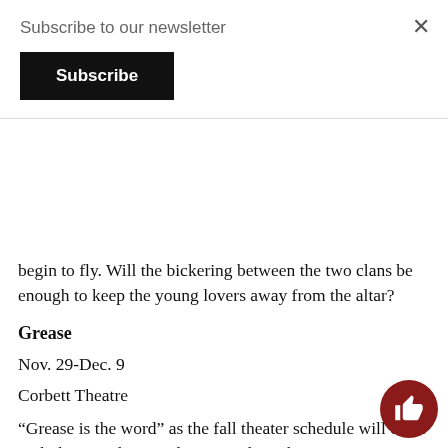Subscribe to our newsletter
Subscribe
begin to fly. Will the bickering between the two clans be enough to keep the young lovers away from the altar?
Grease
Nov. 29-Dec. 9
Corbett Theatre
“Grease is the word” as the fall theater schedule will close with the Broadway and West End war horse written in 1971 by Jim Jacobs and Warren Casey. The crowd favorite will be directed by theatre and dance lecturer Michael Hatton, who also directed a film to stage adaptation of “The Rocky Horror Picture Show” at NKU 2010. This will be the first NKU production of “Grease” since mid-90s.